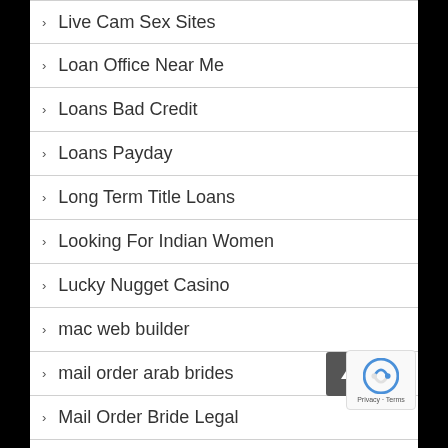Live Cam Sex Sites
Loan Office Near Me
Loans Bad Credit
Loans Payday
Long Term Title Loans
Looking For Indian Women
Lucky Nugget Casino
mac web builder
mail order arab brides
Mail Order Bride Legal